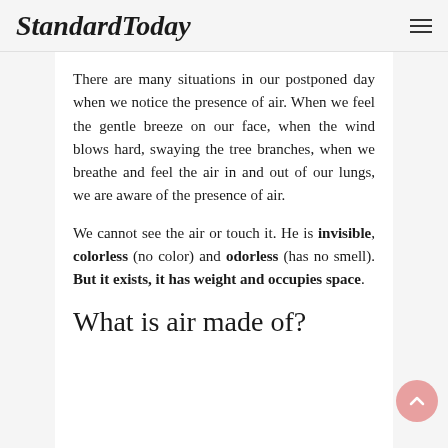StandardToday
There are many situations in our postponed day when we notice the presence of air. When we feel the gentle breeze on our face, when the wind blows hard, swaying the tree branches, when we breathe and feel the air in and out of our lungs, we are aware of the presence of air.
We cannot see the air or touch it. He is invisible, colorless (no color) and odorless (has no smell). But it exists, it has weight and occupies space.
What is air made of?